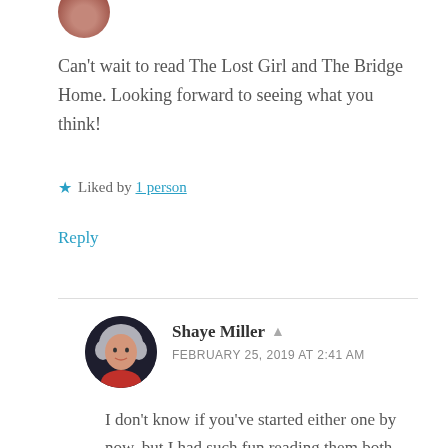[Figure (photo): Partial circular avatar photo of a person, cropped at top, showing brown/reddish tones]
Can't wait to read The Lost Girl and The Bridge Home. Looking forward to seeing what you think!
★ Liked by 1 person
Reply
[Figure (photo): Circular avatar photo of Shaye Miller, a woman with curly grey-white hair wearing a red top, against dark background]
Shaye Miller
FEBRUARY 25, 2019 AT 2:41 AM
I don't know if you've started either one by now, but I had such fun reading them both. There were strands of sadness and joy in both — great writing and I hope you enjoy them!